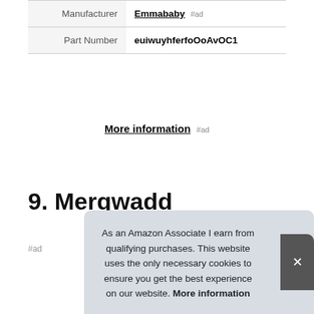| Manufacturer | Emmababy #ad |
| Part Number | euiwuyhferfoOoAvOC1 |
More information #ad
9. Merqwadd
#ad
As an Amazon Associate I earn from qualifying purchases. This website uses the only necessary cookies to ensure you get the best experience on our website. More information